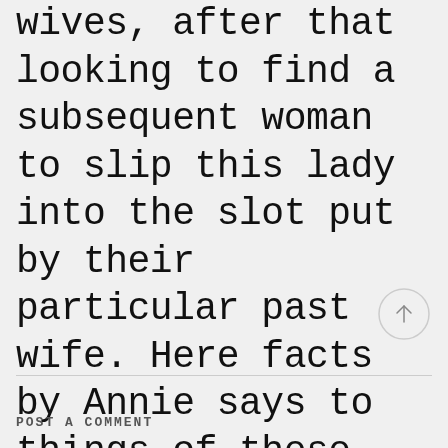wives, after that looking to find a subsequent woman to slip this lady into the slot put by their particular past wife. Here facts by Annie says to things of these account.
[Figure (other): Circular scroll-to-top button with an upward arrow]
POST A COMMENT